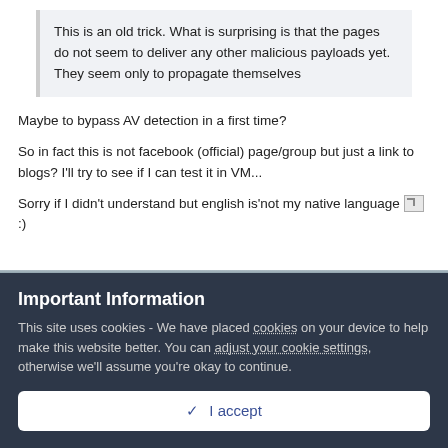This is an old trick. What is surprising is that the pages do not seem to deliver any other malicious payloads yet. They seem only to propagate themselves
Maybe to bypass AV detection in a first time?
So in fact this is not facebook (official) page/group but just a link to blogs? I'll try to see if I can test it in VM...
Sorry if I didn't understand but english is'not my native language :)
Important Information
This site uses cookies - We have placed cookies on your device to help make this website better. You can adjust your cookie settings, otherwise we'll assume you're okay to continue.